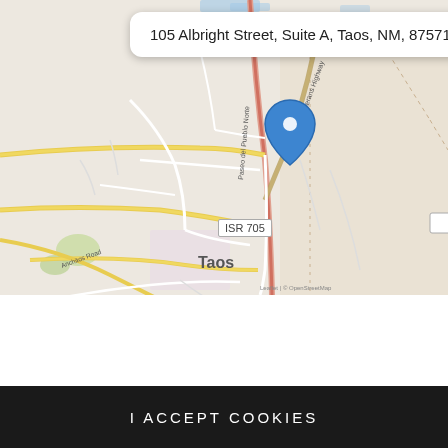[Figure (map): OpenStreetMap showing Taos, NM area with a blue location pin at 105 Albright Street, Suite A, Taos, NM 87571. Address popup visible. Shows Veterans Highway, Paseo del Pueblo Norte, Ranchitos Road, ISR 705 road label, and Taos city label.]
Our website uses cookies. By using our website and agreeing to this policy, you consent to our use of cookies in accordance with the terms of this policy. If you do not consent to the use of these cookies please disable them following the instructions in this Cookie Notice so that cookies from this website cannot be placed on your device.
I ACCEPT COOKIES